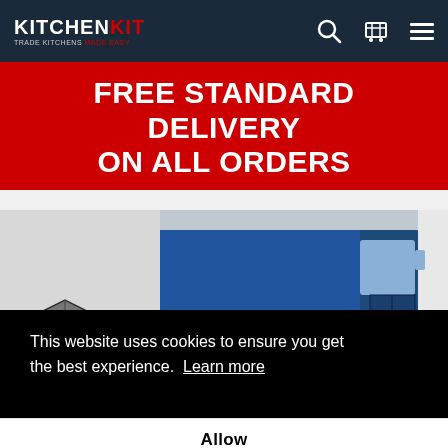KITCHEN KIT — Trade Kitchens Made Easy
FREE STANDARD DELIVERY ON ALL ORDERS
[Figure (photo): Delivery truck and warehouse scene with partial 'Free standard delivery on all' text overlay]
This website uses cookies to ensure you get the best experience.  Learn more
Allow